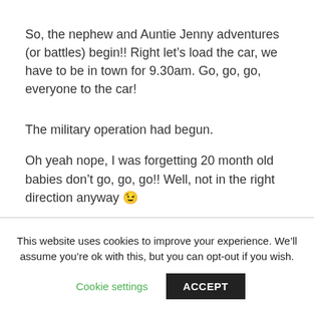So, the nephew and Auntie Jenny adventures (or battles) begin!! Right let’s load the car, we have to be in town for 9.30am. Go, go, go, everyone to the car!
The military operation had begun.
Oh yeah nope, I was forgetting 20 month old babies don’t go, go, go!! Well, not in the right direction anyway 😉
This website uses cookies to improve your experience. We’ll assume you’re ok with this, but you can opt-out if you wish.
Cookie settings
ACCEPT